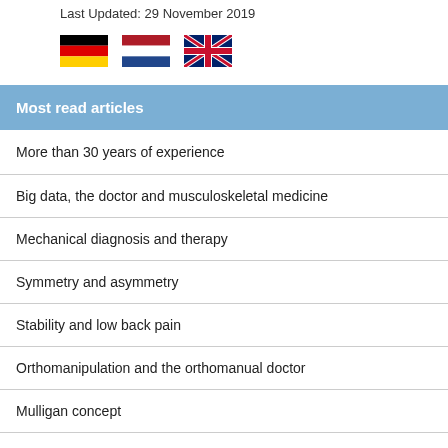Last Updated: 29 November 2019
[Figure (illustration): Three country flags: German flag, Netherlands flag, UK flag]
Most read articles
More than 30 years of experience
Big data, the doctor and musculoskeletal medicine
Mechanical diagnosis and therapy
Symmetry and asymmetry
Stability and low back pain
Orthomanipulation and the orthomanual doctor
Mulligan concept
Manual medicine and the manual doctor
Who are we?